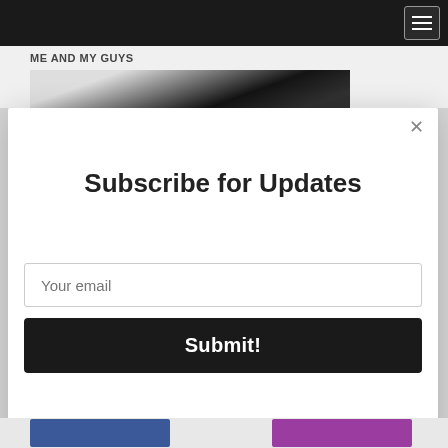ME AND MY GUYS
[Figure (photo): Dark interior car dashboard photo, partially visible behind modal overlay]
Subscribe for Updates
Your email
Submit!
AddThis